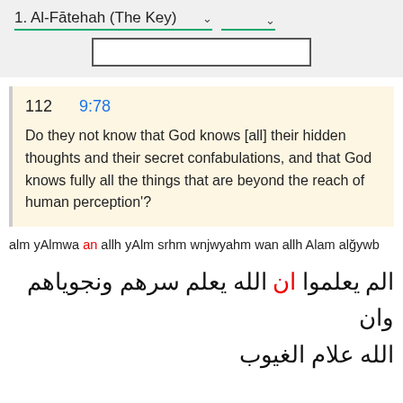1. Al-Fātehah (The Key)
112   9:78
Do they not know that God knows [all] their hidden thoughts and their secret confabulations, and that God knows fully all the things that are beyond the reach of human perception'?
alm yAlmwa an allh yAlm srhm wnjwyahm wan allh Alam alğywb
الم يعلموا ان الله يعلم سرهم ونجوياهم وان الله علام الغيوب